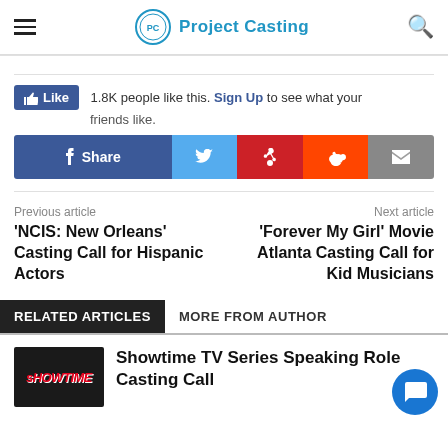Project Casting
[Figure (screenshot): Facebook Like button showing 1.8K people like this. Sign Up to see what your friends like.]
[Figure (infographic): Social share buttons row: Facebook Share, Twitter, Pinterest, Reddit, Email]
Previous article
'NCIS: New Orleans' Casting Call for Hispanic Actors
Next article
'Forever My Girl' Movie Atlanta Casting Call for Kid Musicians
RELATED ARTICLES   MORE FROM AUTHOR
[Figure (photo): Showtime TV series logo thumbnail]
Showtime TV Series Speaking Role Casting Call